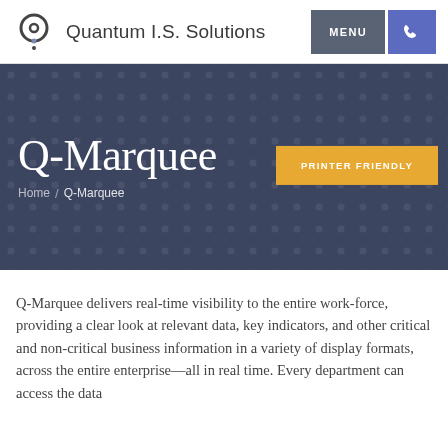Quantum I.S. Solutions
Q-Marquee
Home / Q-Marquee
PRINTER FRIENDLY
Q-Marquee delivers real-time visibility to the entire work-force, providing a clear look at relevant data, key indicators, and other critical and non-critical business information in a variety of display formats, across the entire enterprise—all in real time. Every department can access the data